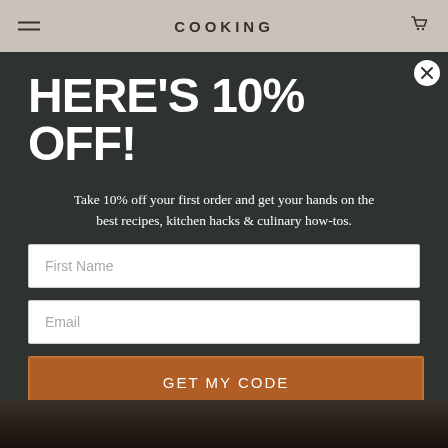COOKING
HERE'S 10% OFF!
Take 10% off your first order and get your hands on the best recipes, kitchen hacks & culinary how-tos.
First Name
Email
GET MY CODE
No, Thanks.